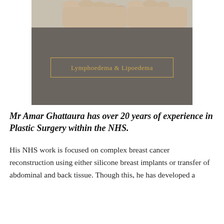[Figure (photo): Partial view of feet/toes resting on a surface, cropped at top, with a grey banner panel below containing a gold-bordered label box]
Lymphoedema & Lipoedema
Mr Amar Ghattaura has over 20 years of experience in Plastic Surgery within the NHS.
His NHS work is focused on complex breast cancer reconstruction using either silicone breast implants or transfer of abdominal and back tissue. Though this, he has developed a